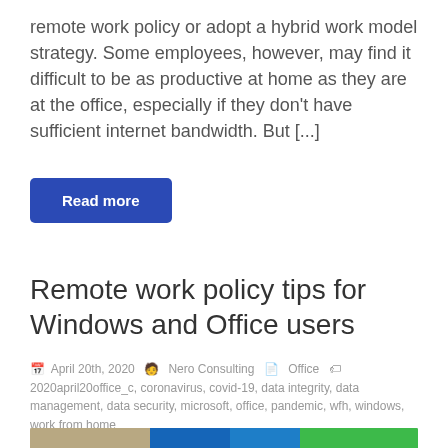remote work policy or adopt a hybrid work model strategy. Some employees, however, may find it difficult to be as productive at home as they are at the office, especially if they don't have sufficient internet bandwidth. But [...]
Read more
Remote work policy tips for Windows and Office users
April 20th, 2020   Nero Consulting   Office   2020april20office_c, coronavirus, covid-19, data integrity, data management, data security, microsoft, office, pandemic, wfh, windows, work from home
[Figure (photo): Bottom strip showing a partial image of Windows tiles and a football player, partially visible at the bottom of the page]